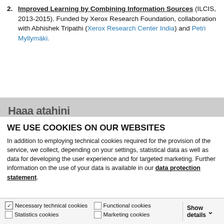Improved Learning by Combining Information Sources (ILCIS, 2013-2015). Funded by Xerox Research Foundation, collaboration with Abhishek Tripathi (Xerox Research Center India) and Petri Myllymäki.
Haaa atahini
WE USE COOKIES ON OUR WEBSITES
In addition to employing technical cookies required for the provision of the service, we collect, depending on your settings, statistical data as well as data for developing the user experience and for targeted marketing. Further information on the use of your data is available in our data protection statement.
Allow all cookies
Allow selection
Use necessary cookies only
Necessary technical cookies | Functional cookies | Statistics cookies | Marketing cookies | Show details